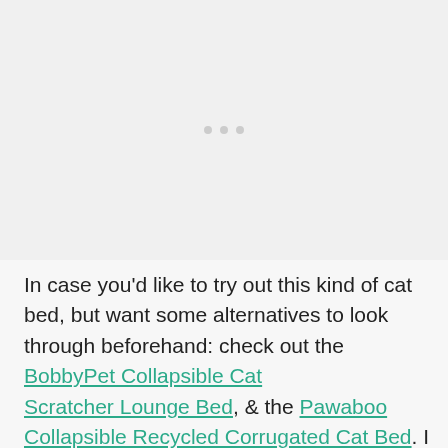[Figure (other): Advertisement placeholder area with three small gray dots centered in a light gray box]
In case you'd like to try out this kind of cat bed, but want some alternatives to look through beforehand: check out the BobbyPet Collapsible Cat Scratcher Lounge Bed, & the Pawaboo Collapsible Recycled Corrugated Cat Bed. I think, I'm going to do my best to get